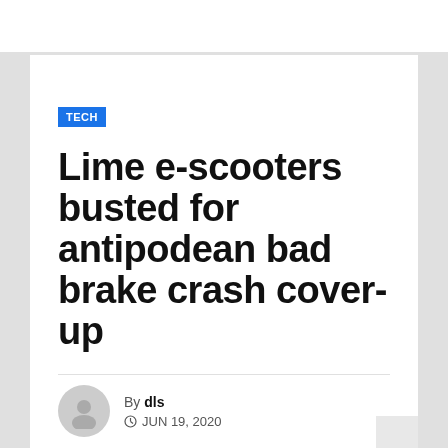TECH
Lime e-scooters busted for antipodean bad brake crash cover-up
By dls
JUN 19, 2020